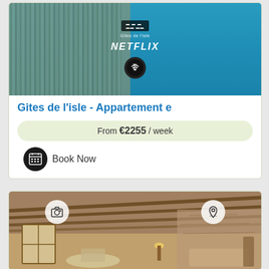[Figure (photo): Apartment interior photo showing living room with bookshelf on left and blue-toned room on right, overlaid with Netflix and WiFi icons and Gites de l'isle logo]
Gites de l'isle - Appartement e
From €2255 / week
Book Now
[Figure (photo): Interior of a French country house with stone walls, wooden beam ceiling, dining area with table and chairs, lamp, and sofa. Camera and location pin icons overlaid at top.]